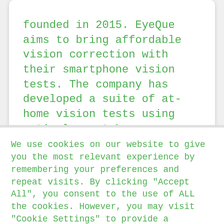founded in 2015. EyeQue aims to bring affordable vision correction with their smartphone vision tests. The company has developed a suite of at-home vision tests using optical smartphone attachments that consumers can use to self-administer a refractive error test through an accompanying app and get the results needed to order corrective lenses.
We use cookies on our website to give you the most relevant experience by remembering your preferences and repeat visits. By clicking "Accept All", you consent to the use of ALL the cookies. However, you may visit "Cookie Settings" to provide a controlled consent.
Read More
Cookie Settings
Accept All